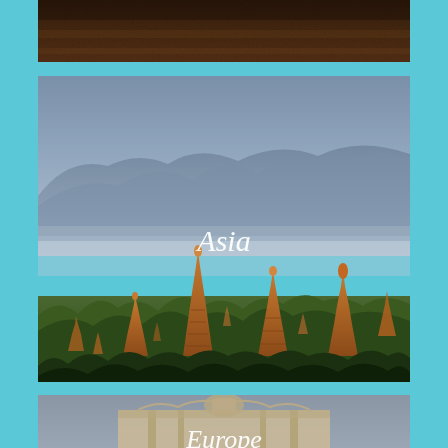[Figure (photo): Top portion of a dark brown textured image, partially cut off at the top of the page]
[Figure (photo): Panoramic view of ancient Buddhist temples and pagodas in Bagan, Myanmar, surrounded by green vegetation with misty mountains in the background. White italic text 'Asia' overlaid in the center.]
[Figure (photo): Partial view of ornate European classical architecture gate or facade against a grey sky. White italic text 'Europe' partially visible at the bottom.]